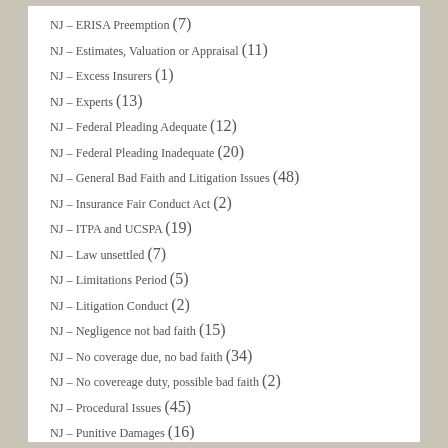NJ – ERISA Preemption (7)
NJ – Estimates, Valuation or Appraisal (11)
NJ – Excess Insurers (1)
NJ – Experts (13)
NJ – Federal Pleading Adequate (12)
NJ – Federal Pleading Inadequate (20)
NJ – General Bad Faith and Litigation Issues (48)
NJ – Insurance Fair Conduct Act (2)
NJ – ITPA and UCSPA (19)
NJ – Law unsettled (7)
NJ – Limitations Period (5)
NJ – Litigation Conduct (2)
NJ – Negligence not bad faith (15)
NJ – No coverage due, no bad faith (34)
NJ – No covereage duty, possible bad faith (2)
NJ – Procedural Issues (45)
NJ – Punitive Damages (16)
NJ – Reinsurance (1)
NJ – Removal & Remand (3)